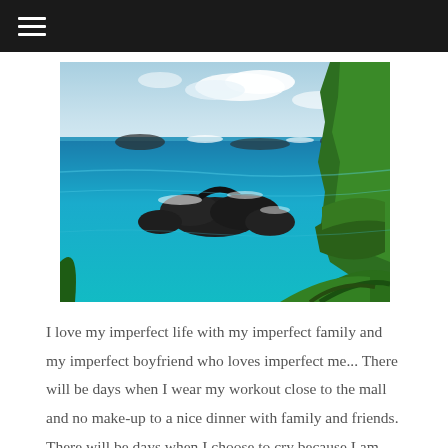[Figure (photo): Coastal landscape with vivid turquoise ocean water, dark volcanic rock formations, white sea spray, and lush green tropical vegetation in the foreground and right side. Blue sky with light clouds in the background.]
I love my imperfect life with my imperfect family and my imperfect boyfriend who loves imperfect me... There will be days when I wear my workout close to the mall and no make-up to a nice dinner with family and friends. There will be days when I choose to cry because I am frustrated